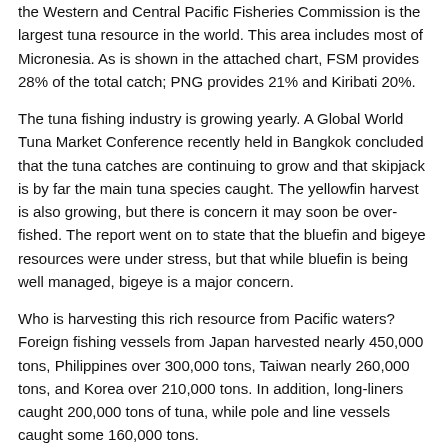the Western and Central Pacific Fisheries Commission is the largest tuna resource in the world. This area includes most of Micronesia. As is shown in the attached chart, FSM provides 28% of the total catch; PNG provides 21% and Kiribati 20%.
The tuna fishing industry is growing yearly. A Global World Tuna Market Conference recently held in Bangkok concluded that the tuna catches are continuing to grow and that skipjack is by far the main tuna species caught. The yellowfin harvest is also growing, but there is concern it may soon be over-fished. The report went on to state that the bluefin and bigeye resources were under stress, but that while bluefin is being well managed, bigeye is a major concern.
Who is harvesting this rich resource from Pacific waters? Foreign fishing vessels from Japan harvested nearly 450,000 tons, Philippines over 300,000 tons, Taiwan nearly 260,000 tons, and Korea over 210,000 tons. In addition, long-liners caught 200,000 tons of tuna, while pole and line vessels caught some 160,000 tons.
So Why Aren't We Using It?